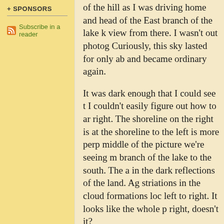+ SPONSORS
Subscribe in a reader
of the hill as I was driving home and head of the East branch of the lake k view from there. I wasn't out photog Curiously, this sky lasted for only ab and became ordinary again.
It was dark enough that I could see t I couldn't easily figure out how to ar right. The shoreline on the right is at the shoreline to the left is more perp middle of the picture we're seeing m branch of the lake to the south. The a in the dark reflections of the land. Ag striations in the cloud formations loc left to right. It looks like the whole p right, doesn't it?
(Down by the water I met a nice cou staying at the hotel. They asked me t phone with the dramatic skies as a b